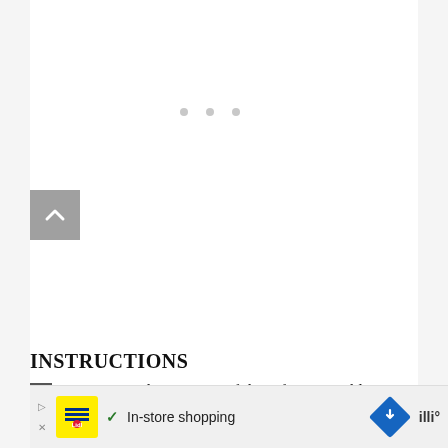[Figure (screenshot): Gray background webpage area with navigation dots and a gray scroll-up button with a white upward chevron arrow on the left side]
[Figure (infographic): Teal heart/like button with count 4.1K and a white share button with share icon on the right side]
INSTRUCTIONS
Press as much water out of the tofu as possible. Slice into square cubes.
[Figure (screenshot): Advertisement bar showing Lidl logo with yellow background, checkmark, In-store shopping text, blue diamond map icon, and additional logo]